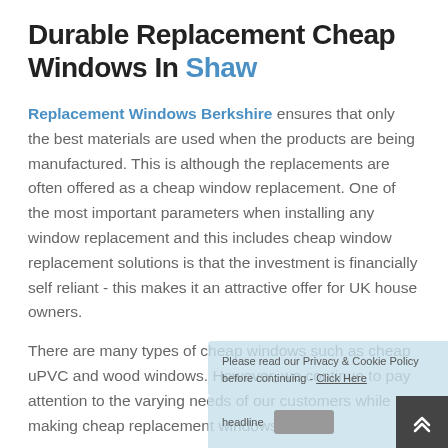Durable Replacement Cheap Windows In Shaw
Replacement Windows Berkshire ensures that only the best materials are used when the products are being manufactured. This is although the replacements are often offered as a cheap window replacement. One of the most important parameters when installing any window replacement and this includes cheap window replacement solutions is that the investment is financially self reliant - this makes it an attractive offer for UK house owners.
There are many types of cheap windows such as cheap uPVC and wood windows. However, we continue to pay attention to the varying needs of our customers while making cheap replacement windows.
Unlike other businesses that charge higher prices as the